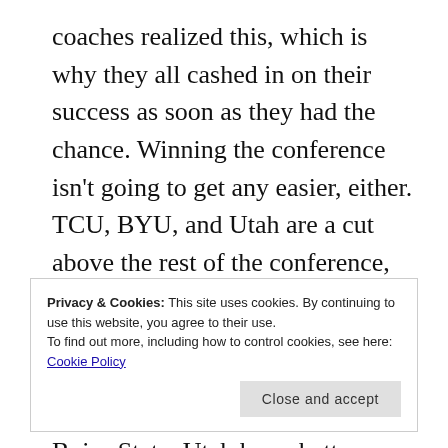coaches realized this, which is why they all cashed in on their success as soon as they had the chance. Winning the conference isn't going to get any easier, either. TCU, BYU, and Utah are a cut above the rest of the conference, and even though Utah's days as a Mountain West member are numbered, they are being replaced with perennial BCS contender Boise State. Utah has a better athletic program, so it's a net loss for the MWC. As far as what goes on between the sidelines, though, the Broncos will undoubtedly fit right in to Utah's
Privacy & Cookies: This site uses cookies. By continuing to use this website, you agree to their use.
To find out more, including how to control cookies, see here: Cookie Policy
Close and accept